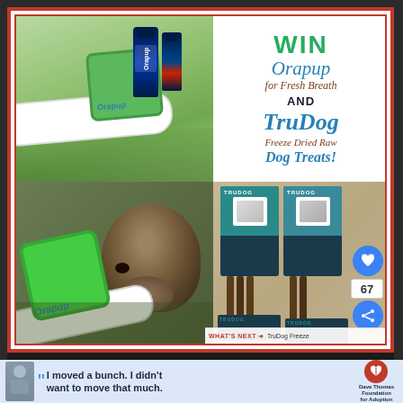[Figure (photo): Promotional giveaway image showing Orapup dog breath product (brush and spray bottles) in top-left, green Orapup tongue brush in bottom-left with a dog face, TruDog freeze-dried raw dog treat packages in bottom-right, and promotional text in top-right reading WIN Orapup for Fresh Breath AND TruDog Freeze Dried Raw Dog Treats!]
WIN Orapup for Fresh Breath AND TruDog Freeze Dried Raw Dog Treats!
67
WHAT'S NEXT → TruDog Freeze Dried Raw Dog...
I moved a bunch. I didn't want to move that much.
Dave Thomas Foundation for Adoption